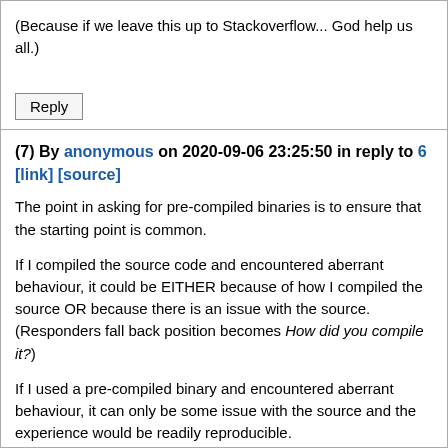(Because if we leave this up to Stackoverflow... God help us all.)
Reply
(7) By anonymous on 2020-09-06 23:25:50 in reply to 6 [link] [source]
The point in asking for pre-compiled binaries is to ensure that the starting point is common.
If I compiled the source code and encountered aberrant behaviour, it could be EITHER because of how I compiled the source OR because there is an issue with the source. (Responders fall back position becomes How did you compile it?)
If I used a pre-compiled binary and encountered aberrant behaviour, it can only be some issue with the source and the experience would be readily reproducible.
Besides, it seems such as shame that after all the work in producing the source, there is a reluctance in providing pre-compiled binaries therefrom (at least for Windows, since users